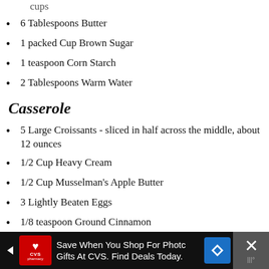cups
6 Tablespoons Butter
1 packed Cup Brown Sugar
1 teaspoon Corn Starch
2 Tablespoons Warm Water
Casserole
5 Large Croissants - sliced in half across the middle, about 12 ounces
1/2 Cup Heavy Cream
1/2 Cup Musselman's Apple Butter
3 Lightly Beaten Eggs
1/8 teaspoon Ground Cinnamon
Glaze
3/4 Cup Powdered Sugar
Save When You Shop For Photo Gifts At CVS. Find Deals Today.